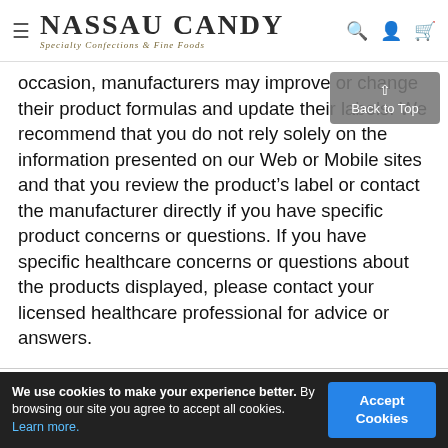Nassau Candy — Specialty Confections & Fine Foods
occasion, manufacturers may improve or change their product formulas and update their labels. We recommend that you do not rely solely on the information presented on our Web or Mobile sites and that you review the product's label or contact the manufacturer directly if you have specific product concerns or questions. If you have specific healthcare concerns or questions about the products displayed, please contact your licensed healthcare professional for advice or answers.
[Figure (screenshot): Back to Top button overlay (grey rounded rectangle with up arrow and 'Back to Top' text)]
[Figure (screenshot): Trustpilot review card with 5 green stars, Verified badge, and partial text: Thanks to butch for the great customer s...]
We use cookies to make your experience better. By browsing our site you agree to accept all cookies. Learn more.